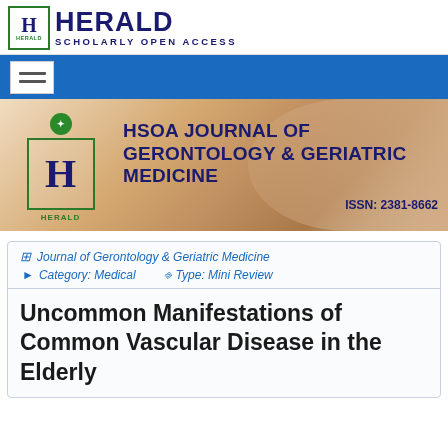HERALD SCHOLARLY OPEN ACCESS
[Figure (logo): Herald Scholarly Open Access logo with stylized H emblem and navigation bar]
[Figure (illustration): HSOA Journal of Gerontology & Geriatric Medicine banner with elderly hands and Herald logo, ISSN: 2381-8662]
Journal of Gerontology & Geriatric Medicine   Category: Medical   Type: Mini Review
Uncommon Manifestations of Common Vascular Disease in the Elderly